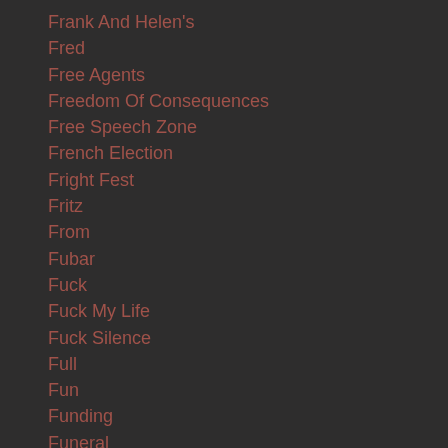Frank And Helen's
Fred
Free Agents
Freedom Of Consequences
Free Speech Zone
French Election
Fright Fest
Fritz
From
Fubar
Fuck
Fuck My Life
Fuck Silence
Full
Fun
Funding
Funeral
Funny
G20
Gabe Lozano